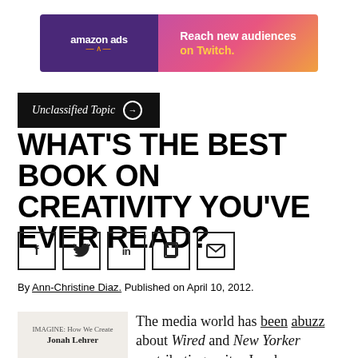[Figure (other): Amazon Ads banner advertisement. Dark purple left side with 'amazon ads' logo and smile, gradient pink/orange right side with text 'Reach new audiences on Twitch.']
Unclassified Topic →
WHAT'S THE BEST BOOK ON CREATIVITY YOU'VE EVER READ?
[Figure (other): Social sharing buttons row: Facebook (f), Twitter (bird), LinkedIn (in), Copy (rectangle), Email (envelope)]
By Ann-Christine Diaz. Published on April 10, 2012.
[Figure (photo): Book cover showing 'Jonah Lehrer' text on a light background]
The media world has been abuzz about Wired and New Yorker contributing writer Jonah